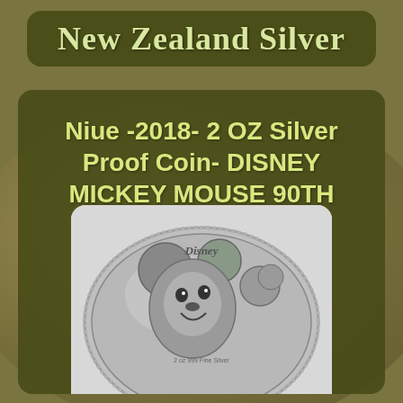New Zealand Silver
Niue -2018- 2 OZ Silver Proof Coin- DISNEY MICKEY MOUSE 90TH ANNIVERSARY
[Figure (photo): Close-up photo of a silver proof coin featuring Disney Mickey Mouse 90th Anniversary design, showing Mickey Mouse in silver relief with the Disney logo text visible on the coin]